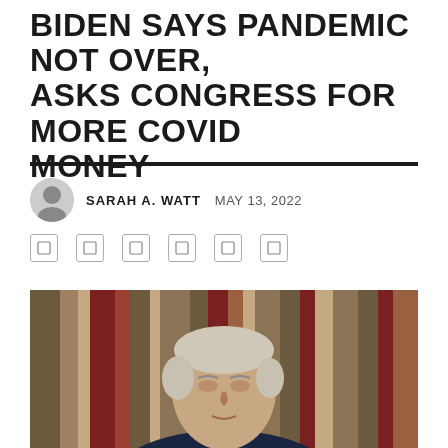BIDEN SAYS PANDEMIC NOT OVER, ASKS CONGRESS FOR MORE COVID MONEY
SARAH A. WATT   MAY 13, 2022
[Figure (photo): Portrait photo of President Joe Biden in a dark suit with a grey tie, looking to the left, with decorative curtains in the background]